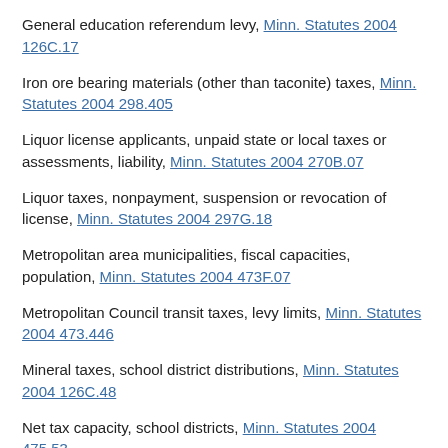General education referendum levy, Minn. Statutes 2004 126C.17
Iron ore bearing materials (other than taconite) taxes, Minn. Statutes 2004 298.405
Liquor license applicants, unpaid state or local taxes or assessments, liability, Minn. Statutes 2004 270B.07
Liquor taxes, nonpayment, suspension or revocation of license, Minn. Statutes 2004 297G.18
Metropolitan area municipalities, fiscal capacities, population, Minn. Statutes 2004 473F.07
Metropolitan Council transit taxes, levy limits, Minn. Statutes 2004 473.446
Mineral taxes, school district distributions, Minn. Statutes 2004 126C.48
Net tax capacity, school districts, Minn. Statutes 2004 475.53